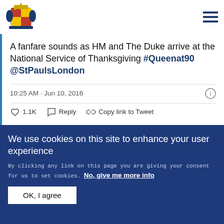[Figure (logo): Royal coat of arms / UK Government logo]
A fanfare sounds as HM and The Duke arrive at the National Service of Thanksgiving #Queenat90 @StPaulsLondon
10:25 AM · Jun 10, 2016
1.1K  Reply  Copy link to Tweet
We use cookies on this site to enhance your user experience
By clicking any link on this page you are giving your consent for us to set cookies. No, give me more info
OK, I agree